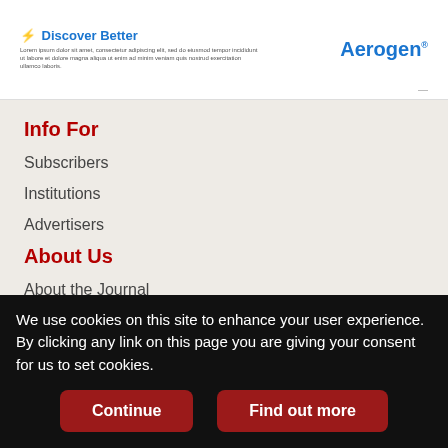[Figure (other): Advertisement banner with 'Discover Better' text in blue with yellow lightning bolt, subtext, and 'Aerogen' brand name on the right]
Info For
Subscribers
Institutions
Advertisers
About Us
About the Journal
Editorial Board
Reprints/Permissions
We use cookies on this site to enhance your user experience. By clicking any link on this page you are giving your consent for us to set cookies.